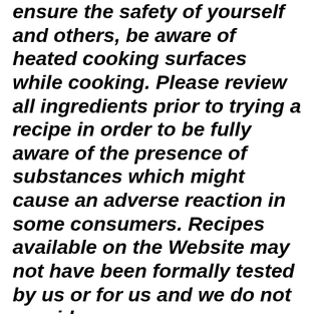ensure the safety of yourself and others, be aware of heated cooking surfaces while cooking. Please review all ingredients prior to trying a recipe in order to be fully aware of the presence of substances which might cause an adverse reaction in some consumers. Recipes available on the Website may not have been formally tested by us or for us and we do not provide any assurances nor accept any responsibility or liability with regard to their originality, quality, nutritional value, or safety. Unless otherwise stated, the recipes featured on